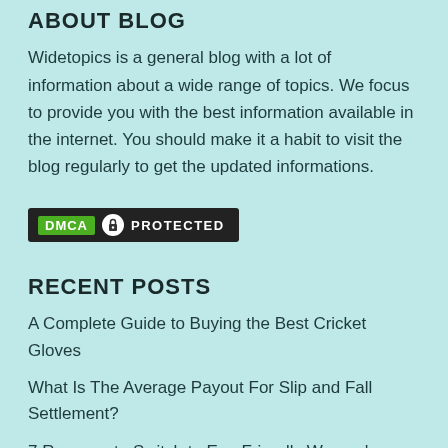ABOUT BLOG
Widetopics is a general blog with a lot of information about a wide range of topics. We focus to provide you with the best information available in the internet. You should make it a habit to visit the blog regularly to get the updated informations.
[Figure (logo): DMCA Protected badge — black background with green DMCA label, lock icon, and white PROTECTED text]
RECENT POSTS
A Complete Guide to Buying the Best Cricket Gloves
What Is The Average Payout For Slip and Fall Settlement?
7 Reasons to Switch to Eco-Friendly Women's Underwear